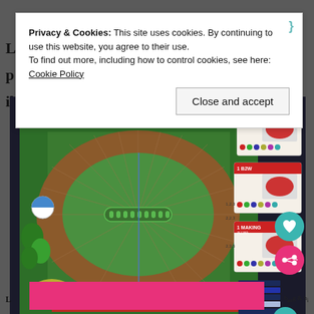Privacy & Cookies: This site uses cookies. By continuing to use this website, you agree to their use.
To find out more, including how to control cookies, see here: Cookie Policy
Close and accept
[Figure (photo): Board game photo showing a horse racing board game with oval track, game pieces (jockey tokens), cards with horse names and stats, scoreboards, and player aids laid out on a dark surface.]
L
p
il